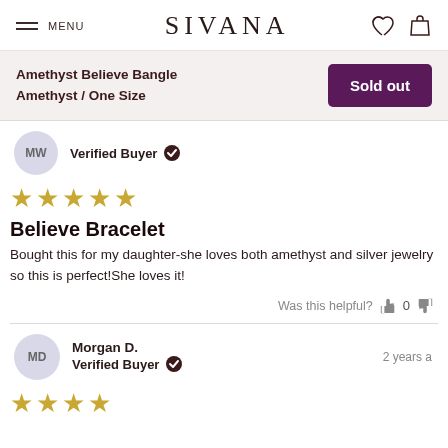MENU | SIVANA
Amethyst Believe Bangle Amethyst / One Size | Sold out
MW — Verified Buyer ✓
[Figure (other): 5 gold star rating]
Believe Bracelet
Bought this for my daughter-she loves both amethyst and silver jewelry so this is perfect!She loves it!
Was this helpful? 👍 0 👎
Morgan D. — Verified Buyer ✓ — 2 years a
[Figure (other): 4 gold star rating (partial)]